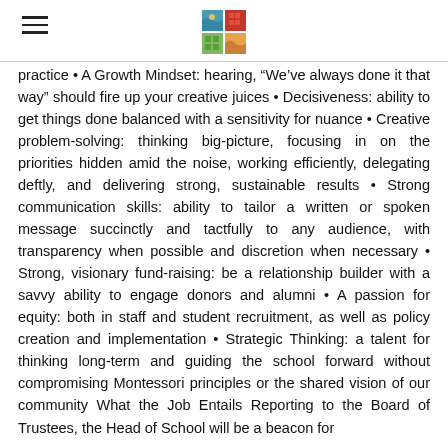[Logo and navigation header]
practice • A Growth Mindset: hearing, "We've always done it that way" should fire up your creative juices • Decisiveness: ability to get things done balanced with a sensitivity for nuance • Creative problem-solving: thinking big-picture, focusing in on the priorities hidden amid the noise, working efficiently, delegating deftly, and delivering strong, sustainable results • Strong communication skills: ability to tailor a written or spoken message succinctly and tactfully to any audience, with transparency when possible and discretion when necessary • Strong, visionary fund-raising: be a relationship builder with a savvy ability to engage donors and alumni • A passion for equity: both in staff and student recruitment, as well as policy creation and implementation • Strategic Thinking: a talent for thinking long-term and guiding the school forward without compromising Montessori principles or the shared vision of our community What the Job Entails Reporting to the Board of Trustees, the Head of School will be a beacon for